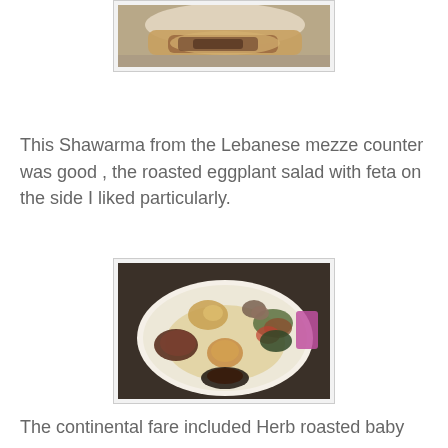[Figure (photo): Partial photo of a shawarma wrap/sandwich on a plate, cropped at top of page]
This Shawarma from the Lebanese mezze counter was good , the roasted eggplant salad with feta on the side I liked particularly.
[Figure (photo): Photo of a white plate with various grilled and roasted foods including vegetables, potatoes, and meat pieces arranged around the plate]
The continental fare included Herb roasted baby potatoes, ...